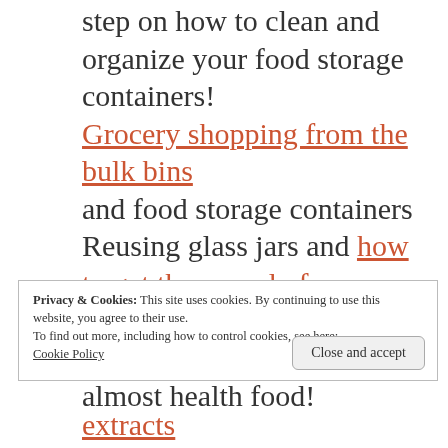step on how to clean and organize your food storage containers! Grocery shopping from the bulk bins and food storage containers Reusing glass jars and how to get them ready for re-use Homemade chocolate chip cookies – I swear these are almost health food!
Privacy & Cookies: This site uses cookies. By continuing to use this website, you agree to their use.
To find out more, including how to control cookies, see here:
Cookie Policy
Close and accept
extracts